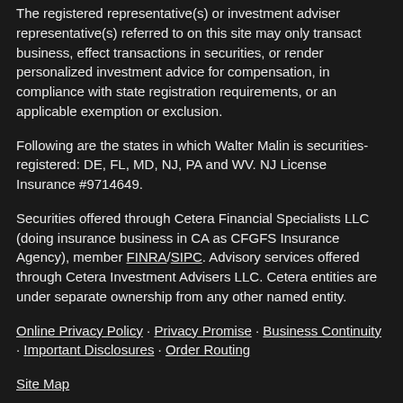The registered representative(s) or investment adviser representative(s) referred to on this site may only transact business, effect transactions in securities, or render personalized investment advice for compensation, in compliance with state registration requirements, or an applicable exemption or exclusion.
Following are the states in which Walter Malin is securities-registered: DE, FL, MD, NJ, PA and WV. NJ License Insurance #9714649.
Securities offered through Cetera Financial Specialists LLC (doing insurance business in CA as CFGFS Insurance Agency), member FINRA/SIPC. Advisory services offered through Cetera Investment Advisers LLC. Cetera entities are under separate ownership from any other named entity.
Online Privacy Policy · Privacy Promise · Business Continuity · Important Disclosures · Order Routing
Site Map